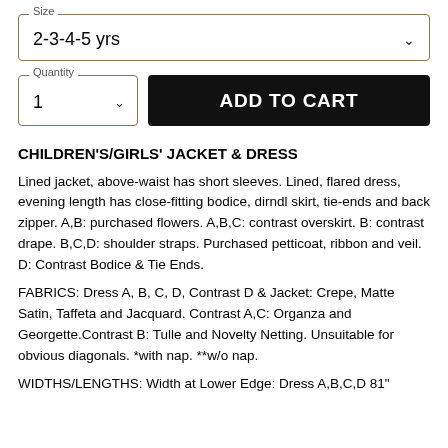Size: 2-3-4-5 yrs
Quantity: 1 | ADD TO CART
CHILDREN'S/GIRLS' JACKET & DRESS
Lined jacket, above-waist has short sleeves. Lined, flared dress, evening length has close-fitting bodice, dirndl skirt, tie-ends and back zipper. A,B: purchased flowers. A,B,C: contrast overskirt. B: contrast drape. B,C,D: shoulder straps. Purchased petticoat, ribbon and veil. D: Contrast Bodice & Tie Ends.
FABRICS: Dress A, B, C, D, Contrast D & Jacket: Crepe, Matte Satin, Taffeta and Jacquard. Contrast A,C: Organza and Georgette.Contrast B: Tulle and Novelty Netting. Unsuitable for obvious diagonals. *with nap. **w/o nap.
WIDTHS/LENGTHS: Width at Lower Edge: Dress A,B,C,D 81"